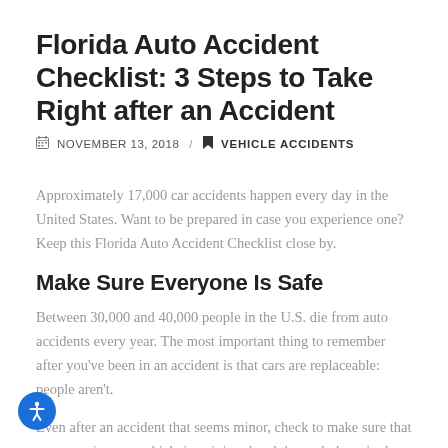Florida Auto Accident Checklist: 3 Steps to Take Right after an Accident
NOVEMBER 13, 2018 / VEHICLE ACCIDENTS
Approximately 17,000 car accidents happen every day in the United States. Want to be prepared in case you experience one? Keep this Florida Auto Accident Checklist close by.
Make Sure Everyone Is Safe
Between 30,000 and 40,000 people in the U.S. die from auto accidents every year. The most important thing to remember after you've been in an accident is that cars are replaceable: people aren't.
Even after an accident that seems minor, check to make sure that everyone in your vehicle is uninjured and then ask those in the other vehicle if they need any medical attention. If any